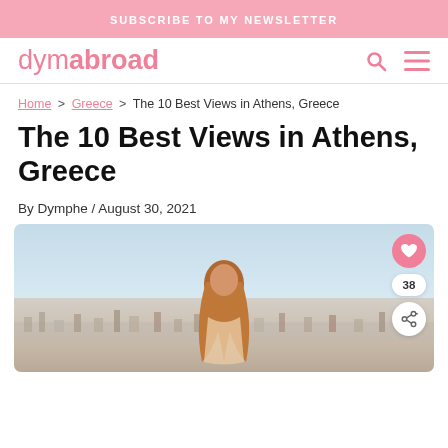SUBSCRIBE TO MY NEWSLETTER
dymabroad
Home > Greece > The 10 Best Views in Athens, Greece
The 10 Best Views in Athens, Greece
By Dymphe / August 30, 2021
[Figure (photo): Woman with long red hair seen from behind, looking over the cityscape of Athens, Greece from a rooftop viewpoint. Sky is light blue, city spreads across the horizon.]